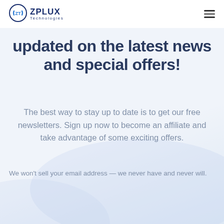[Figure (logo): ZPLUX Technologies logo with circular ZT icon in blue]
updated on the latest news and special offers!
The best way to stay up to date is to get our free newsletters. Sign up now to become an affiliate and take advantage of some exciting offers.
We won't sell your email address — we never have and never will.